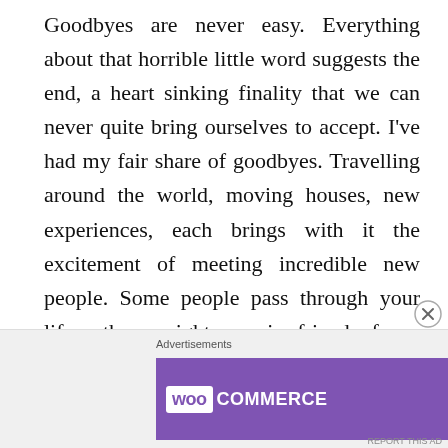Goodbyes are never easy. Everything about that horrible little word suggests the end, a heart sinking finality that we can never quite bring ourselves to accept. I've had my fair share of goodbyes. Travelling around the world, moving houses, new experiences, each brings with it the excitement of meeting incredible new people. Some people pass through your life, others might remain friends for a lifetime. Regardless of who it is, time and distance urge you to say goodbye to those special people you meet along the way, just in case it really is final.
Advertisements
[Figure (other): WooCommerce advertisement banner with purple left section showing WooCommerce logo, a teal arrow pointing right, a light background right section with text 'How to start selling subscriptions online', orange and teal decorative shapes in top and bottom right corners.]